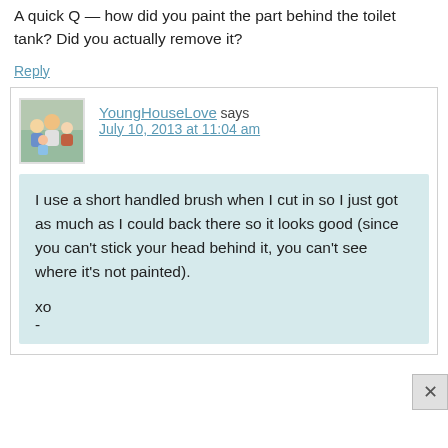A quick Q — how did you paint the part behind the toilet tank? Did you actually remove it?
Reply
YoungHouseLove says
July 10, 2013 at 11:04 am
I use a short handled brush when I cut in so I just got as much as I could back there so it looks good (since you can't stick your head behind it, you can't see where it's not painted).
xo
-